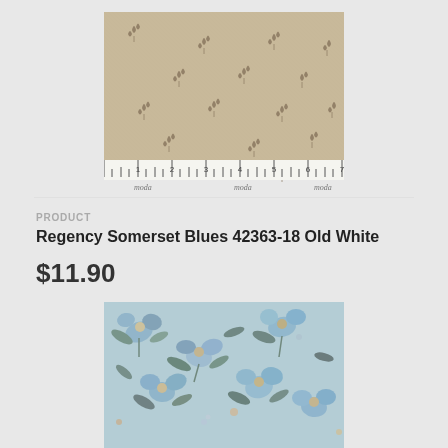[Figure (photo): Beige/tan fabric with small dark taupe leaf/botanical motifs scattered across the surface, with a white ruler showing inches 1-7 along the bottom edge and 'moda' text watermark]
PRODUCT
Regency Somerset Blues 42363-18 Old White
$11.90
[Figure (photo): Light blue fabric with floral botanical pattern featuring blue, taupe, and gray flowers and leaves on a pale blue background]